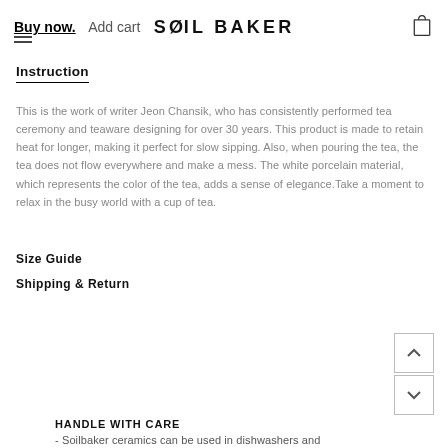Buy now.  Add cart  SOILBAKER
Instruction
This is the work of writer Jeon Chansik, who has consistently performed tea ceremony and teaware designing for over 30 years. This product is made to retain heat for longer, making it perfect for slow sipping. Also, when pouring the tea, the tea does not flow everywhere and make a mess. The white porcelain material, which represents the color of the tea, adds a sense of elegance.Take a moment to relax in the busy world with a cup of tea.
Size Guide
Shipping & Return
HANDLE WITH CARE
- Soilbaker ceramics can be used in dishwashers and